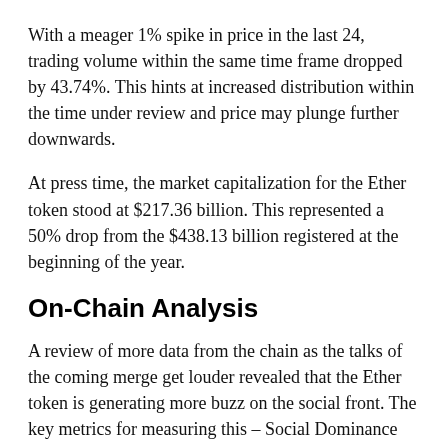With a meager 1% spike in price in the last 24, trading volume within the same time frame dropped by 43.74%. This hints at increased distribution within the time under review and price may plunge further downwards.
At press time, the market capitalization for the Ether token stood at $217.36 billion. This represented a 50% drop from the $438.13 billion registered at the beginning of the year.
On-Chain Analysis
A review of more data from the chain as the talks of the coming merge get louder revealed that the Ether token is generating more buzz on the social front. The key metrics for measuring this – Social Dominance and Social Volume – have been recording high figures. At press time, the Social Dominance stood at 9.23%. On the other hand,